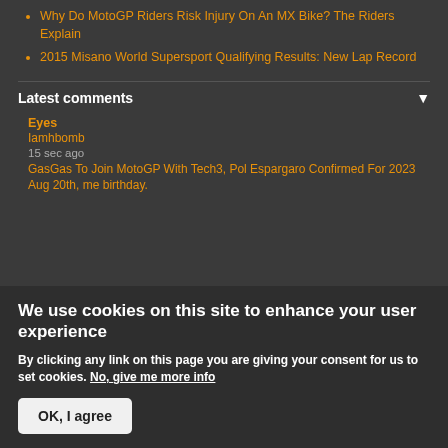Why Do MotoGP Riders Risk Injury On An MX Bike? The Riders Explain
2015 Misano World Supersport Qualifying Results: New Lap Record
Latest comments
Eyes
Iamhbomb
15 sec ago
GasGas To Join MotoGP With Tech3, Pol Espargaro Confirmed For 2023
Aug 20th, me birthday.
We use cookies on this site to enhance your user experience
By clicking any link on this page you are giving your consent for us to set cookies. No, give me more info
OK, I agree